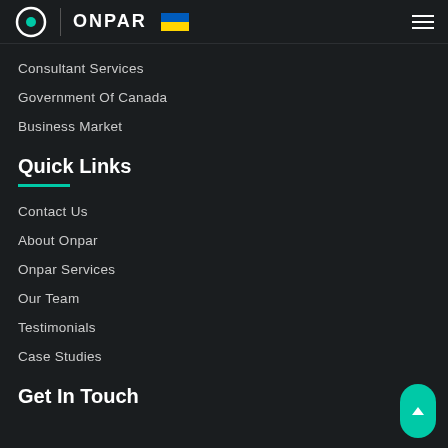ONPAR
Consultant Services
Government Of Canada
Business Market
Quick Links
Contact Us
About Onpar
Onpar Services
Our Team
Testimonials
Case Studies
Get In Touch